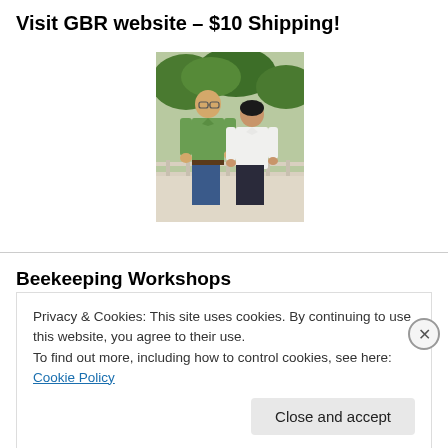Visit GBR website – $10 Shipping!
[Figure (photo): Two people standing together outdoors on a deck or patio with trees in the background. A taller man in a green shirt and jeans stands next to a shorter woman in a white blouse and dark pants.]
Beekeeping Workshops
Privacy & Cookies: This site uses cookies. By continuing to use this website, you agree to their use.
To find out more, including how to control cookies, see here: Cookie Policy